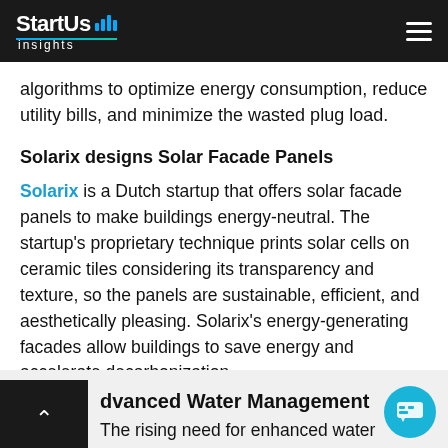StartUs insights
algorithms to optimize energy consumption, reduce utility bills, and minimize the wasted plug load.
Solarix designs Solar Facade Panels
Solarix is a Dutch startup that offers solar facade panels to make buildings energy-neutral. The startup’s proprietary technique prints solar cells on ceramic tiles considering its transparency and texture, so the panels are sustainable, efficient, and aesthetically pleasing. Solarix’s energy-generating facades allow buildings to save energy and accelerate decarbonization.
Advanced Water Management
The rising need for enhanced water management